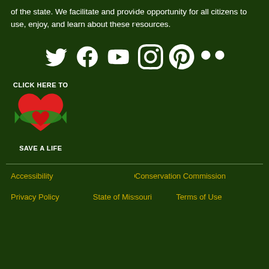of the state. We facilitate and provide opportunity for all citizens to use, enjoy, and learn about these resources.
[Figure (infographic): Row of social media icons: Twitter, Facebook, YouTube, Instagram, Pinterest, Flickr — all white on dark green background]
[Figure (infographic): Click here to Save a Life badge/logo: text 'CLICK HERE TO' above a red heart with green ribbon, and text 'SAVE A LIFE' below]
Accessibility | Conservation Commission | Privacy Policy | State of Missouri | Terms of Use